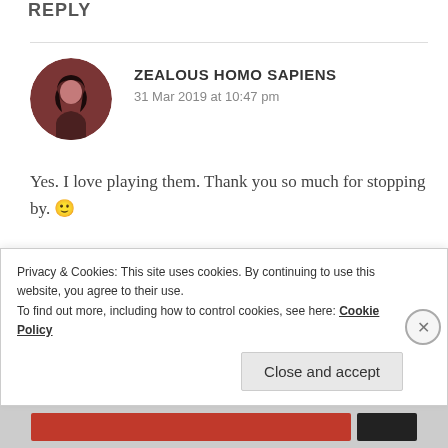REPLY
ZEALOUS HOMO SAPIENS
31 Mar 2019 at 10:47 pm
Yes. I love playing them. Thank you so much for stopping by. 🙂
★ Like
REPLY
Privacy & Cookies: This site uses cookies. By continuing to use this website, you agree to their use.
To find out more, including how to control cookies, see here: Cookie Policy
Close and accept